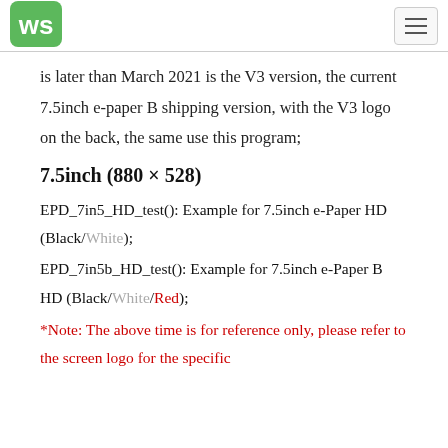Waveshare logo and navigation
is later than March 2021 is the V3 version, the current 7.5inch e-paper B shipping version, with the V3 logo on the back, the same use this program;
7.5inch (880 × 528)
EPD_7in5_HD_test(): Example for 7.5inch e-Paper HD (Black/White);
EPD_7in5b_HD_test(): Example for 7.5inch e-Paper B HD (Black/White/Red);
*Note: The above time is for reference only, please refer to the screen logo for the specific